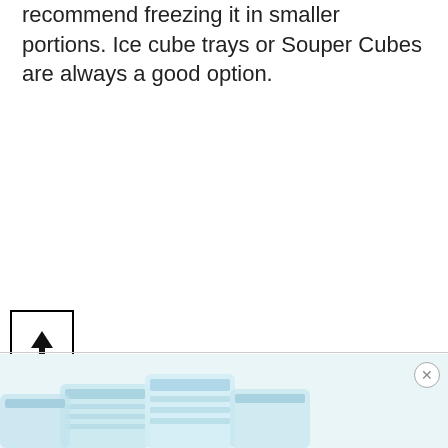recommend freezing it in smaller portions. Ice cube trays or Souper Cubes are always a good option.
[Figure (other): Up arrow icon inside a black bordered square box, used as a navigation button to scroll up.]
[Figure (photo): Advertisement showing light blue food storage containers (Souper Cubes) at the bottom of the page, with a close (X) button in the top right corner.]